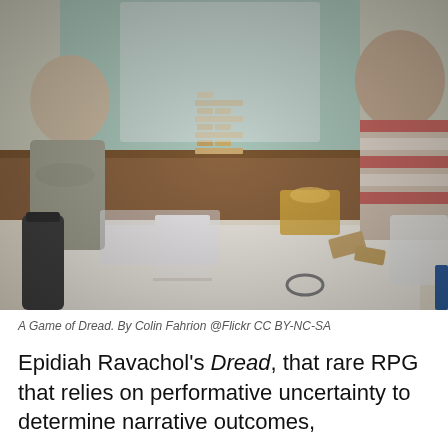[Figure (photo): People playing a game of Dread (Jenga-based RPG) around a table with Jenga blocks stacked, snacks, and game materials visible. Two people are visible, one on the left in a grey sweater with arms crossed, one on the right in a red and white striped shirt leaning over the table.]
A Game of Dread. By Colin Fahrion @Flickr CC BY-NC-SA
Epidiah Ravachol's Dread, that rare RPG that relies on performative uncertainty to determine narrative outcomes, t t d h l th f h i d li th